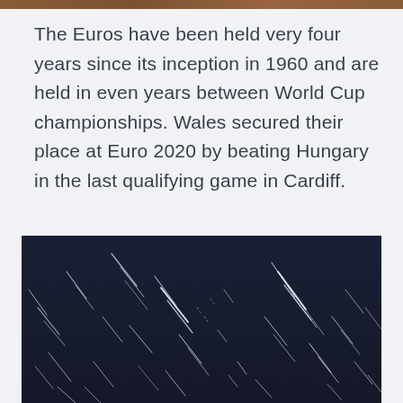[Figure (photo): Partial view of a brown/reddish surface at the very top of the page, cropped]
The Euros have been held very four years since its inception in 1960 and are held in even years between World Cup championships. Wales secured their place at Euro 2020 by beating Hungary in the last qualifying game in Cardiff.
[Figure (photo): Long-exposure night sky photograph showing diagonal star trails (white/light streaks) against a dark navy blue background]